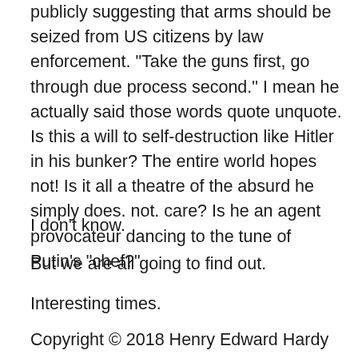publicly suggesting that arms should be seized from US citizens by law enforcement. “Take the guns first, go through due process second.” I mean he actually said those words quote unquote. Is this a will to self-destruction like Hitler in his bunker? The entire world hopes not! Is it all a theatre of the absurd he simply does. not. care? Is he an agent provocateur dancing to the tune of Putin’s “chef?”
I don’t know.
But we are all going to find out.
Interesting times.
Copyright © 2018 Henry Edward Hardy
[Figure (illustration): Illustration of an eye inside a pyramid (all-seeing eye / illuminati symbol) with rays of light, a globe or earth at the base, and a blue/teal background with geometric elements.]